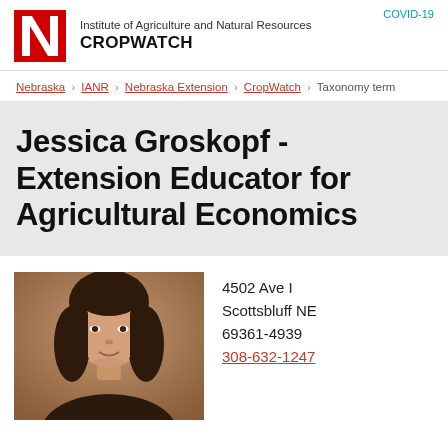COVID-19 | Institute of Agriculture and Natural Resources CROPWATCH
Nebraska › IANR › Nebraska Extension › CropWatch › Taxonomy term
Jessica Groskopf - Extension Educator for Agricultural Economics
[Figure (photo): Headshot photo of Jessica Groskopf, a woman with dark hair, against a brown/tan background]
4502 Ave I
Scottsbluff NE
69361-4939
308-632-1247